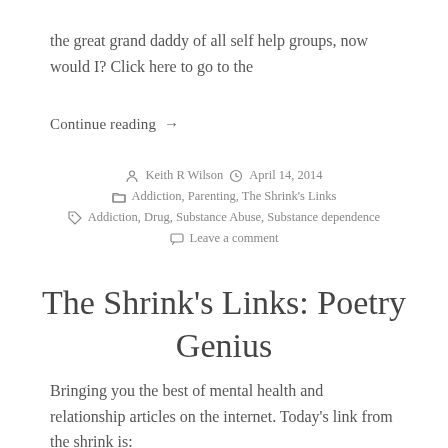the great grand daddy of all self help groups, now would I? Click here to go to the
Continue reading →
Keith R Wilson  April 14, 2014  Addiction, Parenting, The Shrink's Links  Addiction, Drug, Substance Abuse, Substance dependence  Leave a comment
The Shrink's Links: Poetry Genius
Bringing you the best of mental health and relationship articles on the internet. Today's link from the shrink is: